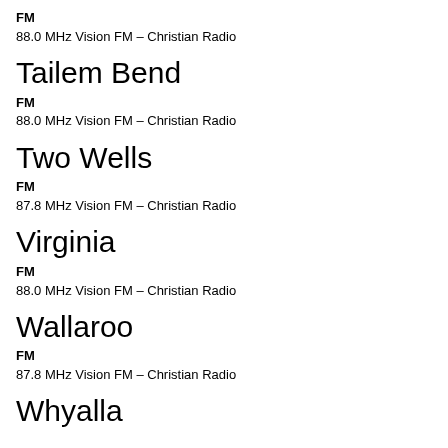FM
88.0 MHz Vision FM – Christian Radio
Tailem Bend
FM
88.0 MHz Vision FM – Christian Radio
Two Wells
FM
87.8 MHz Vision FM – Christian Radio
Virginia
FM
88.0 MHz Vision FM – Christian Radio
Wallaroo
FM
87.8 MHz Vision FM – Christian Radio
Whyalla